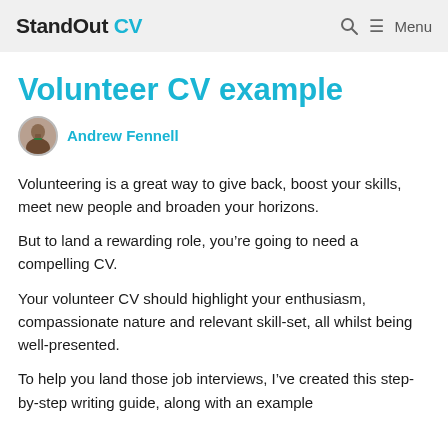StandOut CV — Menu
Volunteer CV example
Andrew Fennell
Volunteering is a great way to give back, boost your skills, meet new people and broaden your horizons.
But to land a rewarding role, you're going to need a compelling CV.
Your volunteer CV should highlight your enthusiasm, compassionate nature and relevant skill-set, all whilst being well-presented.
To help you land those job interviews, I've created this step-by-step writing guide, along with an example volunteer CV...